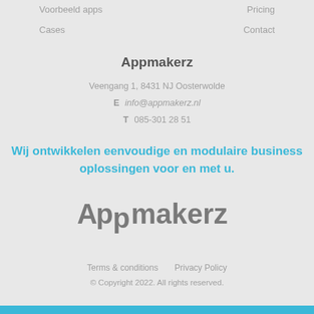Voorbeeld apps    Pricing    Cases    Contact
Appmakerz
Veengang 1, 8431 NJ Oosterwolde
E  info@appmakerz.nl
T  085-301 28 51
Wij ontwikkelen eenvoudige en modulaire business oplossingen voor en met u.
[Figure (logo): Appmakerz logo in grey text]
Terms & conditions    Privacy Policy
© Copyright 2022. All rights reserved.